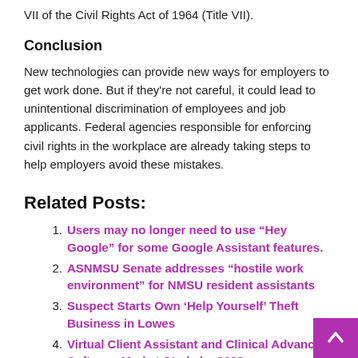VII of the Civil Rights Act of 1964 (Title VII).
Conclusion
New technologies can provide new ways for employers to get work done. But if they're not careful, it could lead to unintentional discrimination of employees and job applicants. Federal agencies responsible for enforcing civil rights in the workplace are already taking steps to help employers avoid these mistakes.
Related Posts:
Users may no longer need to use “Hey Google” for some Google Assistant features.
ASNMSU Senate addresses “hostile work environment” for NMSU resident assistants
Suspect Starts Own ‘Help Yourself’ Theft Business in Lowes
Virtual Client Assistant and Clinical Advance Software Market Study by 2028